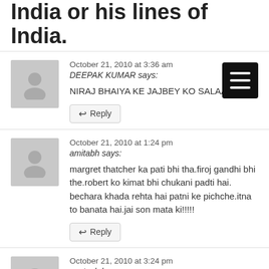India or his lines of India.
October 21, 2010 at 3:36 am
DEEPAK KUMAR says:
NIRAJ BHAIYA KE JAJBEY KO SALAAM.
October 21, 2010 at 1:24 pm
amitabh says:
margret thatcher ka pati bhi tha.firoj gandhi bhi the.robert ko kimat bhi chukani padti hai. bechara khada rehta hai patni ke pichche.itna to banata hai.jai son mata ki!!!!!
October 21, 2010 at 3:24 pm
santosh kumar says: